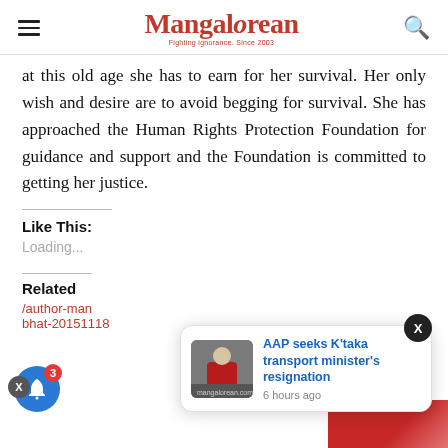Mangalorean
at this old age she has to earn for her survival. Her only wish and desire are to avoid begging for survival. She has approached the Human Rights Protection Foundation for guidance and support and the Foundation is committed to getting her justice.
Like This:
Loading...
Related
author-man bhat-20151118
AAP seeks K'taka transport minister's resignation
6 hours ago